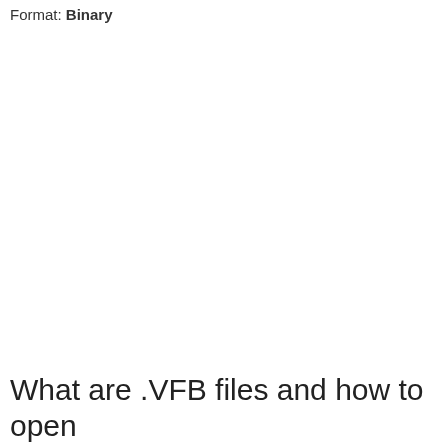Format: Binary
What are .VFB files and how to open